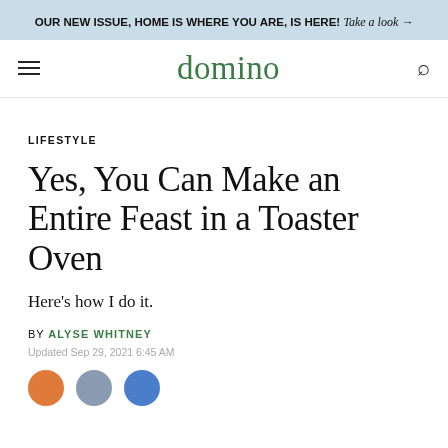OUR NEW ISSUE, HOME IS WHERE YOU ARE, IS HERE! Take a look →
domino
LIFESTYLE
Yes, You Can Make an Entire Feast in a Toaster Oven
Here's how I do it.
BY ALYSE WHITNEY
Updated Sep 29, 2021 6:45 AM